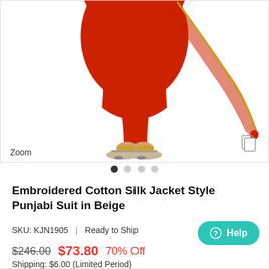[Figure (photo): Lower half of a model wearing a red embroidered Punjabi suit with dupatta, gold-trimmed border, red pompom detail, and embellished sandals on white background. 'Zoom' text label at bottom left and a copy/share icon at bottom right.]
Zoom
Embroidered Cotton Silk Jacket Style Punjabi Suit in Beige
SKU: KJN1905  |  Ready to Ship
$246.00  $73.80  70% Off
Shipping: $6.00 (Limited Period)